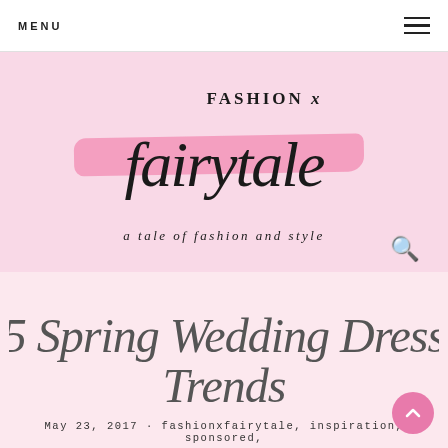MENU ☰
[Figure (logo): Fashion x Fairytale blog logo with script font and pink brush stroke, tagline: a tale of fashion and style]
5 Spring Wedding Dress Trends
May 23, 2017 · fashionxfairytale, inspiration, sponsored,